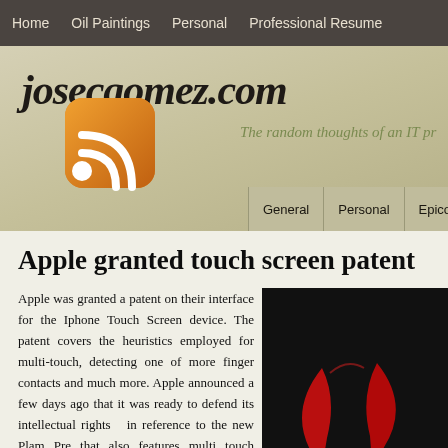Home | Oil Paintings | Personal | Professional Resume
josecgomez.com
The random thoughts of an IT pr
General | Personal | Epicor | Recipes | Views
Apple granted touch screen patent
Apple was granted a patent on their interface for the Iphone Touch Screen device. The patent covers the heuristics employed for multi-touch, detecting one of more finger contacts and much more. Apple announced a few days ago that it was ready to defend its intellectual rights in reference to the new Plam Pre that also features multi touch technology. Now that they have been
[Figure (photo): Dark background with red Apple logo leaves/petals graphic]